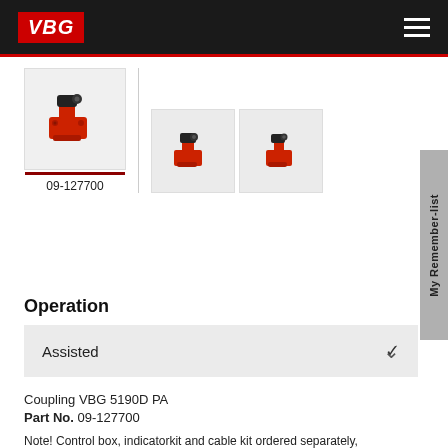VBG
[Figure (photo): Three product thumbnails of VBG 5190D PA coupling shown from different angles. The first (selected/highlighted) is labeled 09-127700. The couplings are red and black mechanical trailer coupling components.]
09-127700
Operation
Assisted
Coupling VBG 5190D PA
Part No. 09-127700
Note! Control box, indicatorkit and cable kit ordered separately,